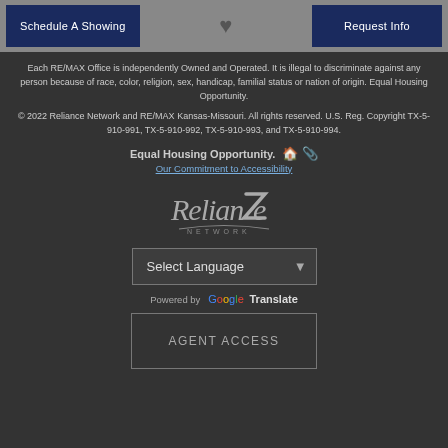Schedule A Showing | [heart icon] | Request Info
Each RE/MAX Office is independently Owned and Operated. It is illegal to discriminate against any person because of race, color, religion, sex, handicap, familial status or nation of origin. Equal Housing Opportunity.
© 2022 Reliance Network and RE/MAX Kansas-Missouri. All rights reserved. U.S. Reg. Copyright TX-5-910-991, TX-5-910-992, TX-5-910-993, and TX-5-910-994.
Equal Housing Opportunity.
Our Commitment to Accessibility
[Figure (logo): Reliance Network logo in grey/white on dark background]
Select Language
Powered by Google Translate
AGENT ACCESS